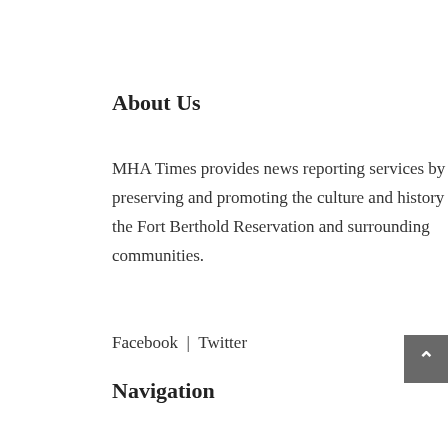About Us
MHA Times provides news reporting services by preserving and promoting the culture and history of the Fort Berthold Reservation and surrounding communities.
Facebook  |  Twitter
Navigation
News
Events